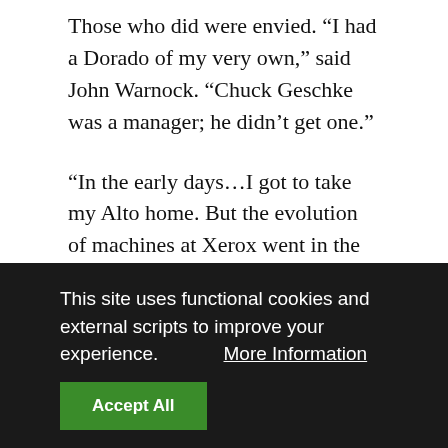Those who did were envied. “I had a Dorado of my very own,” said John Warnock. “Chuck Geschke was a manager; he didn’t get one.”
“In the early days…I got to take my Alto home. But the evolution of machines at Xerox went in the opposite direction from making it easy to take the stuff home.” —Dan Ingalls
“I got a crusty old Alto and a sheet of paper,” Geschke said. The advent of the Dorado allowed researchers whose projects were too big for the Alto to make use of bit-mapped displays and all the other advantages of personal computers. “We had tried to put Lisp on the
This site uses functional cookies and external scripts to improve your experience.  More Information
Accept All